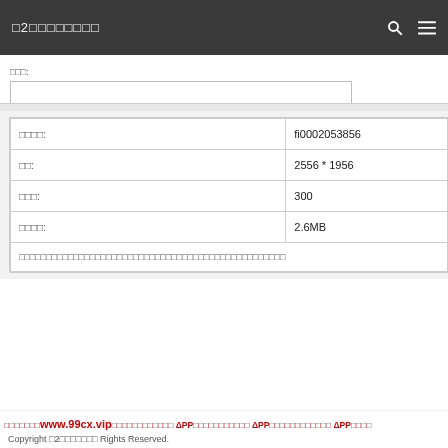□2□□□□□□□□
□□□:
| □□□□: | fi0002053856 |
| □□: | 2556 * 1956 |
| □□□: | 300 |
| □□□□: | 2.6MB |
| □□□□□□□□□□□□□□□□□□□□□□□□□□□□□□□□□□□□□□□□□□□□□ |  |
□□□□□□□www.99cx.vip□□□□□□□□□□□□ APP□□□□□□□□□□□ APP□□□□□□□□□□□□ APP□□□□  Copyright □2□□□□□□□ Rights Reserved.